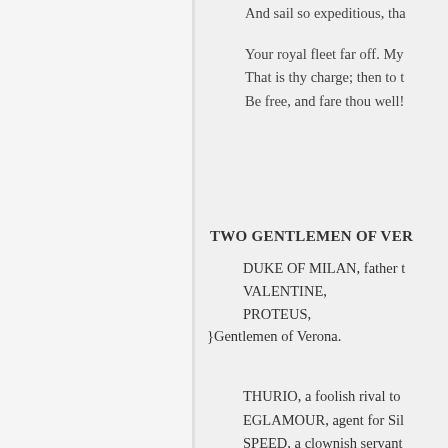And sail so expeditious, tha
Your royal fleet far off. My
That is thy charge; then to t
Be free, and fare thou well!
draw near.
TWO GENTLEMEN OF VER
DUKE OF MILAN, father t
VALENTINE,
PROTEUS,
}Gentlemen of Verona.
ANTONIO, father to Proteus,
THURIO, a foolish rival to
EGLAMOUR, agent for Sil
SPEED, a clownish servant
LAUNCE, servant to Prote
PANTHINO, servant to Antonio.
SCENE. Sometimes in Vero